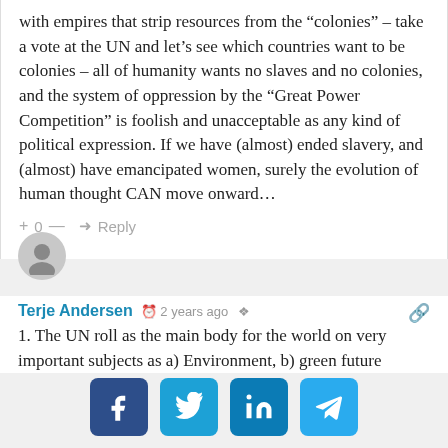with empires that strip resources from the “colonies” – take a vote at the UN and let’s see which countries want to be colonies – all of humanity wants no slaves and no colonies, and the system of oppression by the “Great Power Competition” is foolish and unacceptable as any kind of political expression. If we have (almost) ended slavery, and (almost) have emancipated women, surely the evolution of human thought CAN move onward...
+ 0 —  ➜ Reply
[Figure (illustration): User avatar icon, grey circle with person silhouette]
Terje Andersen  ⏰ 2 years ago  ☉
1. The UN roll as the main body for the world on very important subjects as a) Environment, b) green future
[Figure (infographic): Social share buttons: Facebook, Twitter, LinkedIn, Telegram]